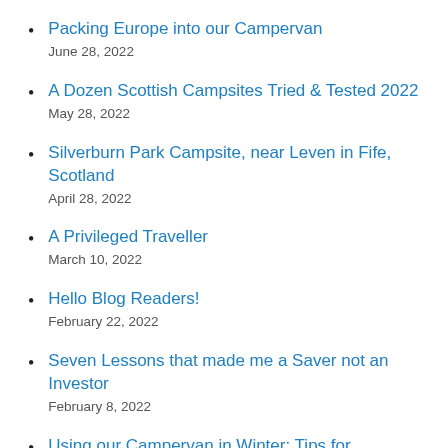Packing Europe into our Campervan
June 28, 2022
A Dozen Scottish Campsites Tried & Tested 2022
May 28, 2022
Silverburn Park Campsite, near Leven in Fife, Scotland
April 28, 2022
A Privileged Traveller
March 10, 2022
Hello Blog Readers!
February 22, 2022
Seven Lessons that made me a Saver not an Investor
February 8, 2022
Using our Campervan in Winter: Tips for